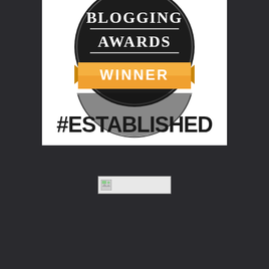[Figure (logo): Blogging Awards Winner badge — dark circular badge with 'BLOGGING AWARDS' text and an orange/gold ribbon banner saying 'WINNER', with '#ESTABLISHED' text below the badge on white background]
[Figure (other): Broken/missing image placeholder box with small image icon]